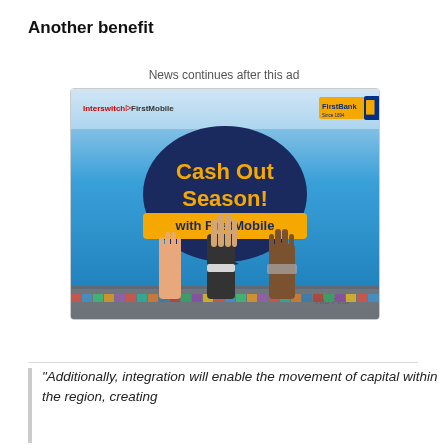Another benefit
News continues after this ad
[Figure (photo): Advertisement banner for FirstBank FirstMobile 'Cash Out Season!' promotion by Interswitch, showing raised hands holding a sign that reads 'Cash Out Season! with FirstMobile'. Tagline: 'You First'. Logos for Interswitch FirstMobile and FirstBank are visible.]
“Additionally, integration will enable the movement of capital within the region, creating